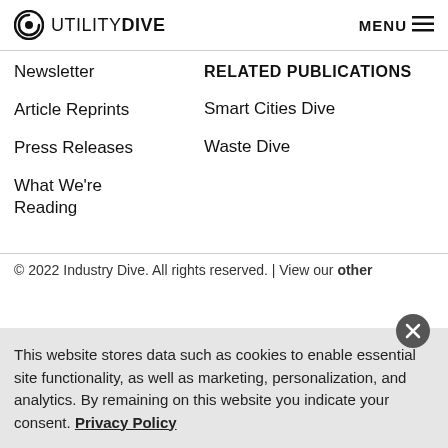UTILITY DIVE  MENU
Newsletter
Article Reprints
RELATED PUBLICATIONS
Press Releases
Smart Cities Dive
What We're Reading
Waste Dive
© 2022 Industry Dive. All rights reserved. | View our other
This website stores data such as cookies to enable essential site functionality, as well as marketing, personalization, and analytics. By remaining on this website you indicate your consent. Privacy Policy